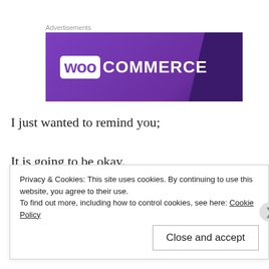Advertisements
[Figure (logo): WooCommerce advertisement banner with purple background and white WooCommerce logo]
I just wanted to remind you;
It is going to be okay.
And that “Everything”;
Privacy & Cookies: This site uses cookies. By continuing to use this website, you agree to their use.
To find out more, including how to control cookies, see here: Cookie Policy
Close and accept